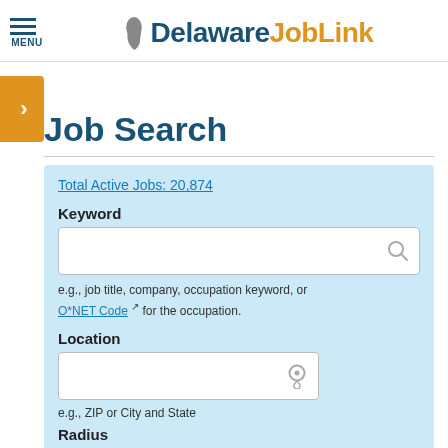Delaware JobLink
Job Search
Total Active Jobs: 20,874
Keyword
e.g., job title, company, occupation keyword, or O*NET Code for the occupation.
Location
e.g., ZIP or City and State
Radius